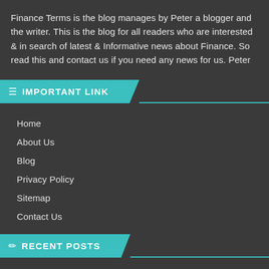Finance Terms is the blog manages by Peter a blogger and the writer. This is the blog for all readers who are interested & in search of latest & Informative news about Finance. So read this and contact us if you need any news for us. Peter
IMPORTANT LINK
Home
About Us
Blog
Privacy Policy
Sitemap
Contact Us
RECENT POSTS
10 Steps to Finding the Perfect FX Trade